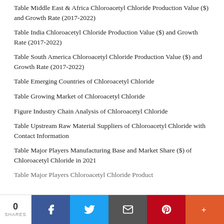Table Middle East & Africa Chloroacetyl Chloride Production Value ($) and Growth Rate (2017-2022)
Table India Chloroacetyl Chloride Production Value ($) and Growth Rate (2017-2022)
Table South America Chloroacetyl Chloride Production Value ($) and Growth Rate (2017-2022)
Table Emerging Countries of Chloroacetyl Chloride
Table Growing Market of Chloroacetyl Chloride
Figure Industry Chain Analysis of Chloroacetyl Chloride
Table Upstream Raw Material Suppliers of Chloroacetyl Chloride with Contact Information
Table Major Players Manufacturing Base and Market Share ($) of Chloroacetyl Chloride in 2021
Table Major Players Chloroacetyl Chloride Product